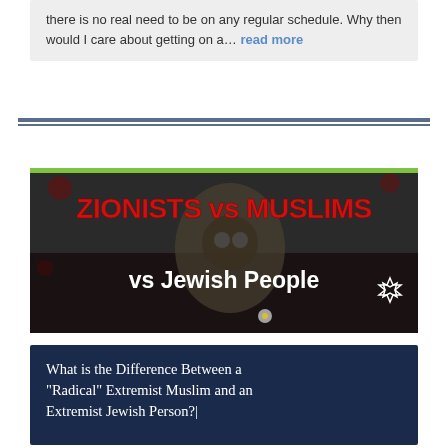...there is no real need to be on any regular schedule. Why then would I care about getting on a... read more
[Figure (illustration): Dark dramatic image showing a person in a gas mask and military gear lying in rubble with a flower. Bold red text reads 'ZIONISTS vs MUSLIMS' and white text reads 'vs Jewish People' with a Star of David symbol.]
What is the Difference Between a "Radical" Extremist Muslim and an Extremist Jewish Person?|